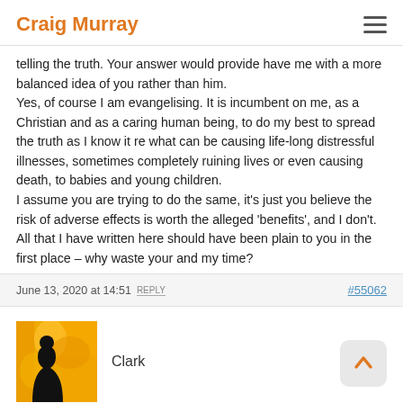Craig Murray
telling the truth. Your answer would provide have me with a more balanced idea of you rather than him.
Yes, of course I am evangelising. It is incumbent on me, as a Christian and as a caring human being, to do my best to spread the truth as I know it re what can be causing life-long distressful illnesses, sometimes completely ruining lives or even causing death, to babies and young children.
I assume you are trying to do the same, it's just you believe the risk of adverse effects is worth the alleged 'benefits', and I don't. All that I have written here should have been plain to you in the first place – why waste your and my time?
June 13, 2020 at 14:51 REPLY #55062
Clark